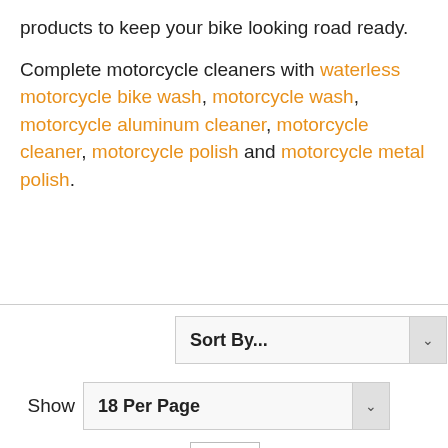products to keep your bike looking road ready.
Complete motorcycle cleaners with waterless motorcycle bike wash, motorcycle wash, motorcycle aluminum cleaner, motorcycle cleaner, motorcycle polish and motorcycle metal polish.
[Figure (screenshot): Sort By... dropdown selector with chevron button]
[Figure (screenshot): Show 18 Per Page dropdown selector with chevron button, preceded by Show label]
[Figure (other): List/grid view toggle icon button showing horizontal lines]